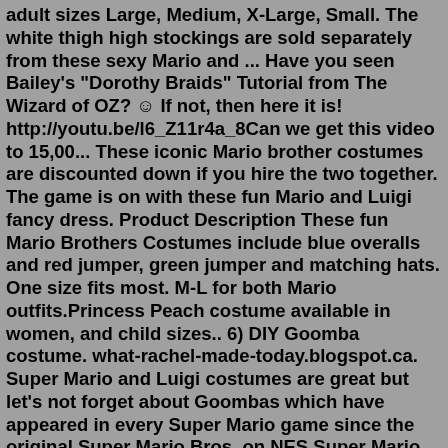adult sizes Large, Medium, X-Large, Small. The white thigh high stockings are sold separately from these sexy Mario and ... Have you seen Bailey's "Dorothy Braids" Tutorial from The Wizard of OZ? ☺ If not, then here it is! http://youtu.be/l6_Z11r4a_8Can we get this video to 15,00... These iconic Mario brother costumes are discounted down if you hire the two together. The game is on with these fun Mario and Luigi fancy dress. Product Description These fun Mario Brothers Costumes include blue overalls and red jumper, green jumper and matching hats. One size fits most. M-L for both Mario outfits.Princess Peach costume available in women, and child sizes.. 6) DIY Goomba costume. what-rachel-made-today.blogspot.ca. Super Mario and Luigi costumes are great but let's not forget about Goombas which have appeared in every Super Mario game since the original Super Mario Bros. on NES.Super Mario Luigi Classic Child Costume $38.62 - $65.03 Super Mario Luigi Deluxe Child Costume $60.06 - $75.67 Underwraps Costumes Gleeful Giraffe Toddler